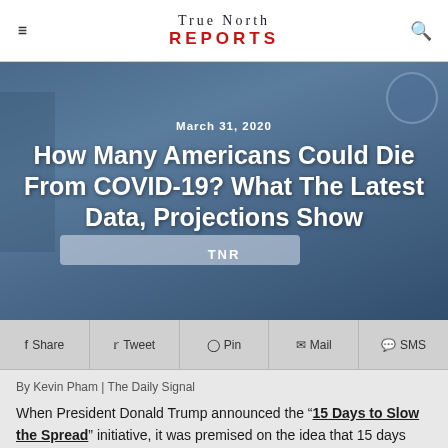True North REPORTS
[Figure (photo): Hospital room with medical equipment, overlaid with dark blue tint. Headline area showing article title, date, and author over the image.]
How Many Americans Could Die From COVID-19? What The Latest Data, Projections Show
March 31, 2020
TNR
Share  Tweet  Pin  Mail  SMS
By Kevin Pham | The Daily Signal
When President Donald Trump announced the “15 Days to Slow the Spread” initiative, it was premised on the idea that 15 days would give the country enough time to collect